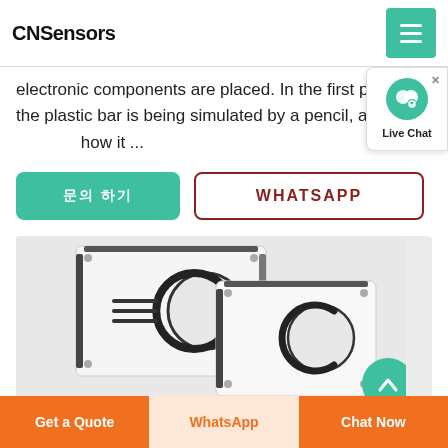CNSensors
electronic components are placed. In the first photo, the plastic bar is being simulated by a pencil, and you can see how it ...
[Figure (screenshot): Live Chat popup bubble with user icon and 'Live Chat' label]
문의 하기 button (green)
WHATSAPP button (outlined dark red)
[Figure (photo): Two white rectangular sensor boxes on a light grey background, with circular and line cutout patterns on their faces]
Get a Quote | WhatsApp | Chat Now